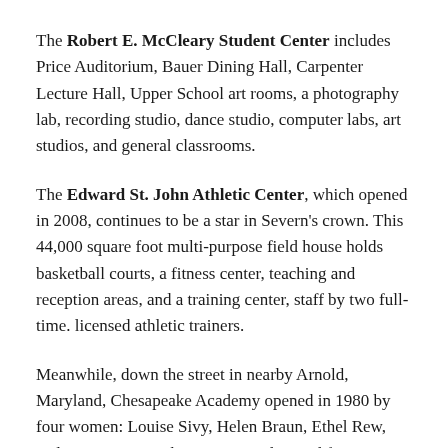The Robert E. McCleary Student Center includes Price Auditorium, Bauer Dining Hall, Carpenter Lecture Hall, Upper School art rooms, a photography lab, recording studio, dance studio, computer labs, art studios, and general classrooms.
The Edward St. John Athletic Center, which opened in 2008, continues to be a star in Severn's crown. This 44,000 square foot multi-purpose field house holds basketball courts, a fitness center, teaching and reception areas, and a training center, staff by two full-time. licensed athletic trainers.
Meanwhile, down the street in nearby Arnold, Maryland, Chesapeake Academy opened in 1980 by four women: Louise Sivy, Helen Braun, Ethel Rew, and Patricia Troy. They recognized a need for an independent early childhood and elementary program offering small classes and a challenging multi-faceted curriculum.
The...